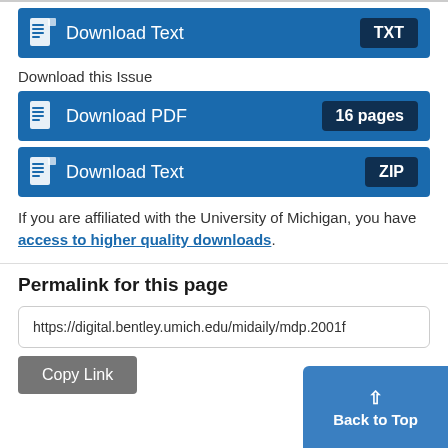[Figure (screenshot): Blue download button with document icon labeled 'Download Text' and 'TXT' badge on right]
Download this Issue
[Figure (screenshot): Blue download button with document icon labeled 'Download PDF' and '16 pages' badge on right]
[Figure (screenshot): Blue download button with document icon labeled 'Download Text' and 'ZIP' badge on right]
If you are affiliated with the University of Michigan, you have access to higher quality downloads.
Permalink for this page
https://digital.bentley.umich.edu/midaily/mdp.2001f
Copy Link
Back to Top